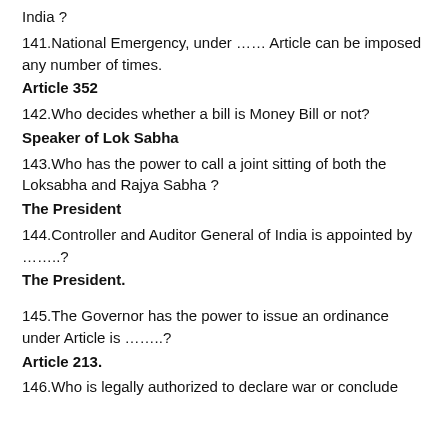India ?
141.National Emergency, under …… Article can be imposed any number of times.
Article 352
142.Who decides whether a bill is Money Bill or not?
Speaker of Lok Sabha
143.Who has the power to call a joint sitting of both the Loksabha and Rajya Sabha ?
The President
144.Controller and Auditor General of India is appointed by ……..?
The President.
145.The Governor has the power to issue an ordinance under Article is ……..?
Article 213.
146.Who is legally authorized to declare war or conclude